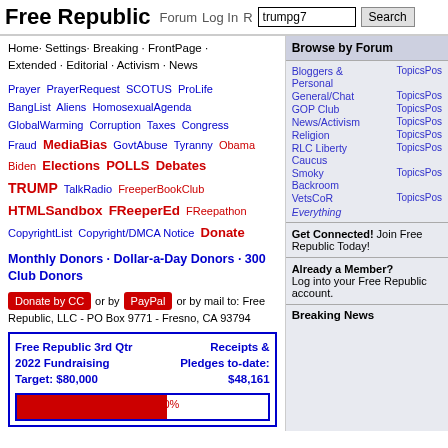Free Republic | Forum | Log In | Search [trumpg7]
Home · Settings · Breaking · FrontPage · Extended · Editorial · Activism · News
Prayer PrayerRequest SCOTUS ProLife BangList Aliens HomosexualAgenda GlobalWarming Corruption Taxes Congress Fraud MediaBias GovtAbuse Tyranny Obama Biden Elections POLLS Debates TRUMP TalkRadio FreeperBookClub HTMLSandbox FReeperEd FReepathon CopyrightList Copyright/DMCA Notice Donate
Monthly Donors · Dollar-a-Day Donors · 300 Club Donors
Donate by CC or by PayPal or by mail to: Free Republic, LLC - PO Box 9771 - Fresno, CA 93794
Free Republic 3rd Qtr 2022 Fundraising Target: $80,000 | Receipts & Pledges to-date: $48,161
[Figure (other): Progress bar showing 60% fundraising completion (red fill, blue border)]
Browse by Forum
Bloggers & Personal TopicsPos
General/Chat TopicsPos
GOP Club TopicsPos
News/Activism TopicsPos
Religion TopicsPos
RLC Liberty Caucus TopicsPos
Smoky Backroom TopicsPos
VetsCoR TopicsPos
Everything
Get Connected! Join Free Republic Today!
Already a Member? Log into your Free Republic account.
Breaking News